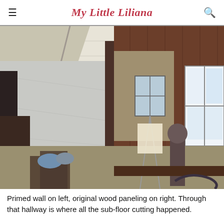My Little Liliana
[Figure (photo): Interior room photo showing a primed white wall on the left side and original dark brown wood paneling on the right side. The ceiling is white with visible beams. Various tools and equipment are on the floor. A hallway is visible in the center background with a window. A bright window is visible on the right wall.]
Primed wall on left, original wood paneling on right. Through that hallway is where all the sub-floor cutting happened.